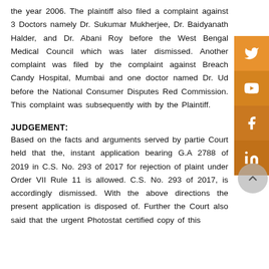the year 2006. The plaintiff also filed a complaint against 3 Doctors namely Dr. Sukumar Mukherjee, Dr. Baidyanath Halder, and Dr. Abani Roy before the West Bengal Medical Council which was later dismissed. Another complaint was filed by the complaint against Breach Candy Hospital, Mumbai and one doctor named Dr. Ud before the National Consumer Disputes Red Commission. This complaint was subsequently with by the Plaintiff.
JUDGEMENT:
Based on the facts and arguments served by partie Court held that the, instant application bearing G.A 2788 of 2019 in C.S. No. 293 of 2017 for rejection of plaint under Order VII Rule 11 is allowed. C.S. No. 293 of 2017, is accordingly dismissed. With the above directions the present application is disposed of. Further the Court also said that the urgent Photostat certified copy of this